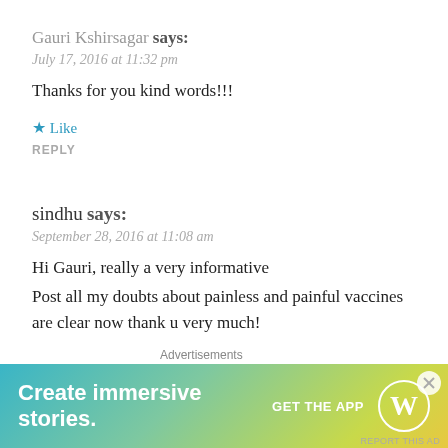Gauri Kshirsagar says:
July 17, 2016 at 11:32 pm
Thanks for you kind words!!!
★ Like
REPLY
sindhu says:
September 28, 2016 at 11:08 am
Hi Gauri, really a very informative Post all my doubts about painless and painful vaccines are clear now thank u very much! With this detail have decided to go for painful one however my daughter's first vaccine is painless so is that fine if I choose
[Figure (infographic): WordPress advertisement banner: 'Create immersive stories. GET THE APP' with WordPress logo on gradient blue-green-yellow background]